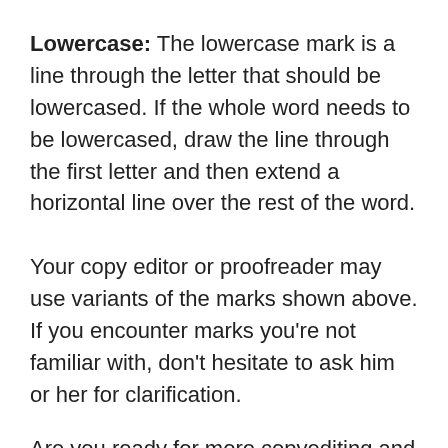Lowercase: The lowercase mark is a line through the letter that should be lowercased. If the whole word needs to be lowercased, draw the line through the first letter and then extend a horizontal line over the rest of the word.
Your copy editor or proofreader may use variants of the marks shown above. If you encounter marks you're not familiar with, don't hesitate to ask him or her for clarification.
Are you ready for more copyediting and proofreading marks? Check out my related post "Ten More Handwritten Editing Marks," which